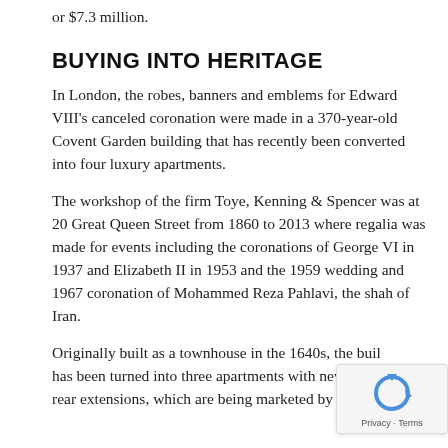or $7.3 million.
BUYING INTO HERITAGE
In London, the robes, banners and emblems for Edward VIII's canceled coronation were made in a 370-year-old Covent Garden building that has recently been converted into four luxury apartments.
The workshop of the firm Toye, Kenning & Spencer was at 20 Great Queen Street from 1860 to 2013 where regalia was made for events including the coronations of George VI in 1937 and Elizabeth II in 1953 and the 1959 wedding and 1967 coronation of Mohammed Reza Pahlavi, the shah of Iran.
Originally built as a townhouse in the 1640s, the building has been turned into three apartments with new glass-walled rear extensions, which are being marketed by